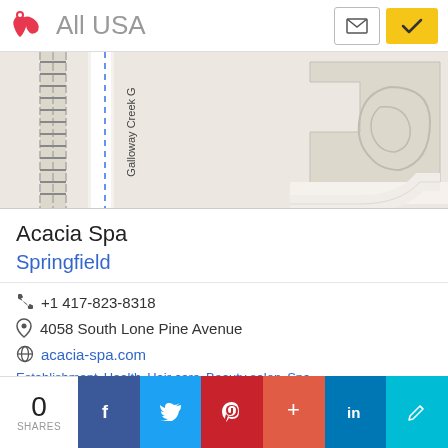All USA
[Figure (map): Street map showing Galloway Creek area with roads, a building outline, railroad tracks, and a blue dashed route line.]
Acacia Spa
Springfield
+1 417-823-8318
4058 South Lone Pine Avenue
acacia-spa.com
Establishment  Health  Hair care  Beauty salon  Spa
Closed: until
0
SHARES